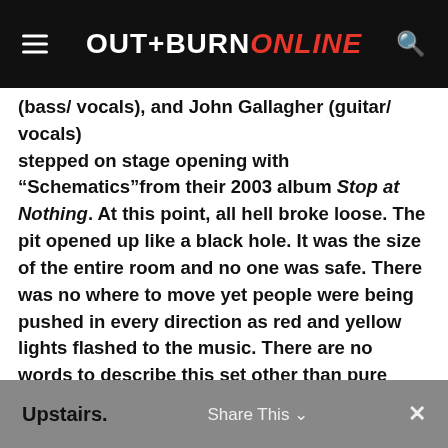OUTBURN ONLINE
(bass/vocals), and John Gallagher (guitar/vocals) stepped on stage opening with “Schematics”from their 2003 album Stop at Nothing. At this point, all hell broke loose. The pit opened up like a black hole. It was the size of the entire room and no one was safe. There was no where to move yet people were being pushed in every direction as red and yellow lights flashed to the music. There are no words to describe this set other than pure insane anarchy. The intensity of this entire evening will go unmatched, as this heavy metal lineup unquestionably destroyed at The Palladium Upstairs.
Share This ∨ ×